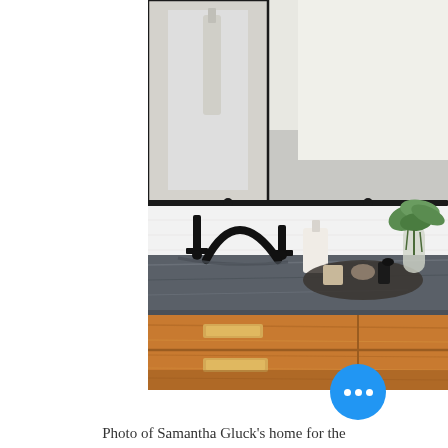[Figure (photo): A bathroom vanity scene showing a dark stone/slate countertop with matte black faucets and fixtures. A green plant in a glass vase and toiletry items on a round tray are on the counter. Below is a warm wood cabinet with brass drawer pulls. A mirror reflects a window above. The image is slightly blurred/shallow depth of field.]
Photo of Samantha Gluck's home for the